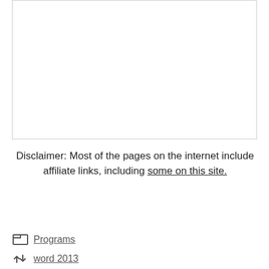[Figure (other): Empty white box with light gray border]
Disclaimer: Most of the pages on the internet include affiliate links, including some on this site.
Programs
word 2013